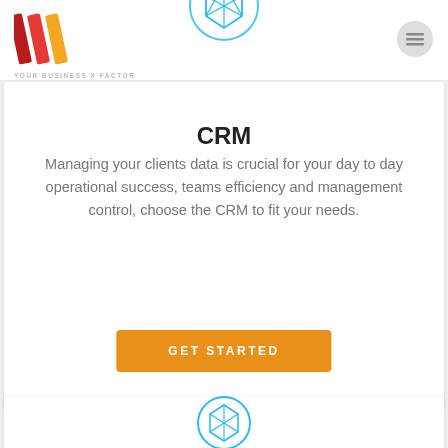[Figure (logo): Brand logo: three diagonal slash marks in red, dark red, and orange/yellow colors]
[Figure (illustration): Circular icon with a geometric polyhedron/gem shape in light blue, inside a light blue circle outline]
[Figure (illustration): Hamburger menu icon (three horizontal lines) in gray circle]
YOUR BUSINESS X FACTOR
CRM
Managing your clients data is crucial for your day to day operational success, teams efficiency and management control, choose the CRM to fit your needs.
GET STARTED
[Figure (illustration): Circular icon with a geometric polyhedron/gem shape in light blue, inside a light blue circle outline (second card)]
OPERATIONAL TOOLS